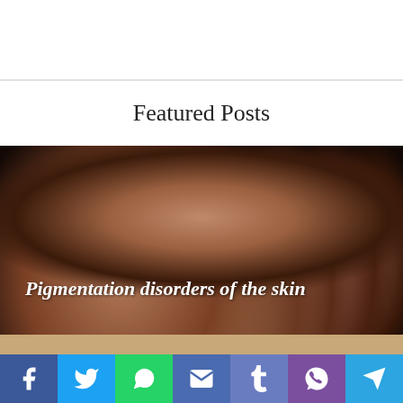Featured Posts
[Figure (photo): A human hand photographed against a dark background, showing skin pigmentation patterns. Text overlay reads: 'Pigmentation disorders of the skin']
[Figure (other): Social media sharing buttons: Facebook, Twitter, WhatsApp, Email, Tumblr, Viber, Telegram]